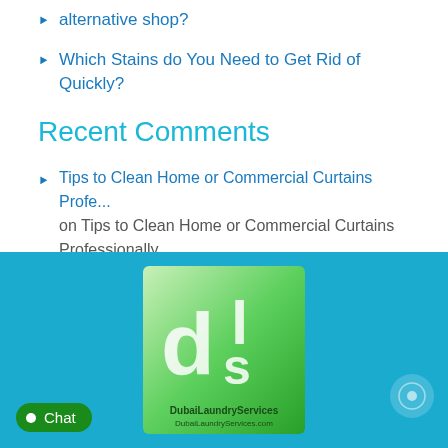alternative shop?
Which Stains do You Need to Get Rid of Quickly?
Recent Comments
Tips to Clean Home or Commercial Curtains Profe... on Tips to Clean Home or Commercial Curtains Professionally
[Figure (logo): Dubai Laundry Services logo — green 'dl' lettermark on gradient background with text 'DubaiLaundryServices' and 'DubaiLaundryServices.com']
Chat